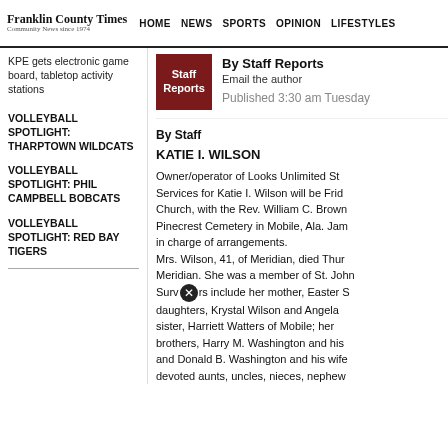Franklin County Times | HOME | NEWS | SPORTS | OPINION | LIFESTYLES
KPE gets electronic game board, tabletop activity stations
VOLLEYBALL SPOTLIGHT: THARPTOWN WILDCATS
VOLLEYBALL SPOTLIGHT: PHIL CAMPBELL BOBCATS
VOLLEYBALL SPOTLIGHT: RED BAY TIGERS
By Staff Reports
Email the author
Published 3:30 am Tuesday
By Staff
KATIE I. WILSON
Owner/operator of Looks Unlimited St... Services for Katie I. Wilson will be Frid... Church, with the Rev. William C. Brown... Pinecrest Cemetery in Mobile, Ala. Jam... in charge of arrangements.
Mrs. Wilson, 41, of Meridian, died Thur... Meridian. She was a member of St. Joh... Survivors include her mother, Easter S... daughters, Krystal Wilson and Angela ... sister, Harriett Watters of Mobile; her brothers, Harry M. Washington and his... and Donald B. Washington and his wife... devoted aunts, uncles, nieces, nephew...